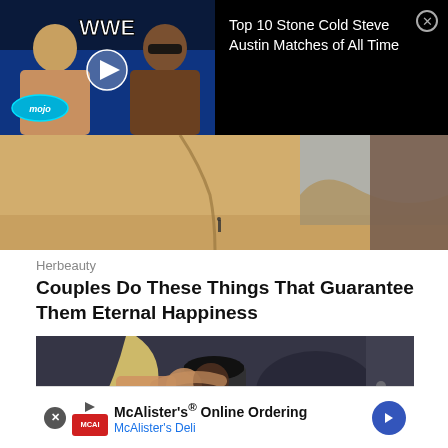[Figure (screenshot): WWE thumbnail showing Stone Cold Steve Austin and The Rock with WatchMojo logo and play button, black background with title text: Top 10 Stone Cold Steve Austin Matches of All Time, with X close button]
[Figure (photo): Beach/desert landscape aerial photo with a small figure visible below]
Herbeauty
Couples Do These Things That Guarantee Them Eternal Happiness
[Figure (photo): Couple kissing on a boat, blonde woman and dark-haired man embracing]
McAlister's® Online Ordering
McAlister's Deli